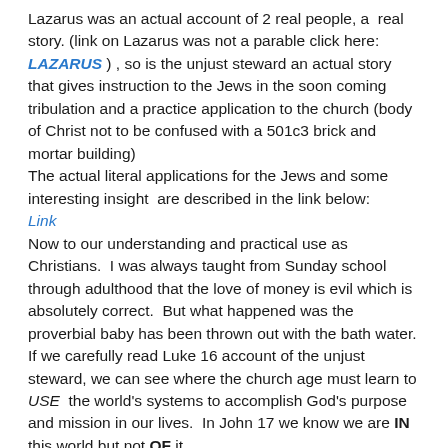Lazarus was an actual account of 2 real people, a real story. (link on Lazarus was not a parable click here: LAZARUS ) , so is the unjust steward an actual story that gives instruction to the Jews in the soon coming tribulation and a practice application to the church (body of Christ not to be confused with a 501c3 brick and mortar building) The actual literal applications for the Jews and some interesting insight are described in the link below: Link Now to our understanding and practical use as Christians. I was always taught from Sunday school through adulthood that the love of money is evil which is absolutely correct. But what happened was the proverbial baby has been thrown out with the bath water. If we carefully read Luke 16 account of the unjust steward, we can see where the church age must learn to USE the world's systems to accomplish God's purpose and mission in our lives. In John 17 we know we are IN this world but not OF it. Jesus told us to wise as serpents and gentle as doves